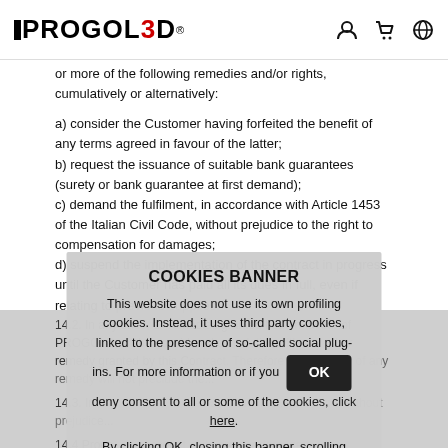PROGOL3D [logo with navigation icons]
or more of the following remedies and/or rights, cumulatively or alternatively:
a) consider the Customer having forfeited the benefit of any terms agreed in favour of the latter;
b) request the issuance of suitable bank guarantees (surety or bank guarantee at first demand);
c) demand the fulfilment, in accordance with Article 1453 of the Italian Civil Code, without prejudice to the right to compensation for damages;
d) suspend the implementation of the contract in progress until the Customer has paid all its dues in full, even if relating to previous supplies.
14.2. In any case, all remedies granted both in favour of PROGOLD will be considered cumulative with any other remedy granted by this Contract. Therefore the exercise of any remedy will not preclude the...
14.3. In the... entitled to the payment of a... sale price, without prejudice...
14.4 Progo... on account of its greater damages.
COOKIES BANNER
This website does not use its own profiling cookies. Instead, it uses third party cookies, linked to the presence of so-called social plug-ins. For more information or if you deny consent to all or some of the cookies, click here. By clicking OK, closing this banner, scrolling down this page or clicking on any element below, including links to other pages, you consent to the use of cookies.